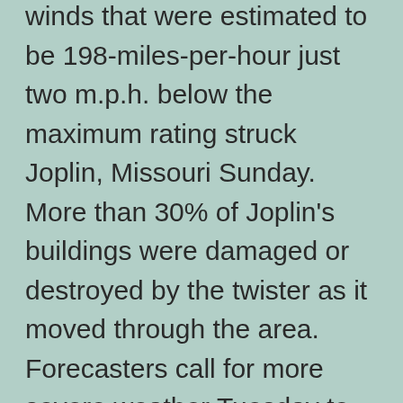winds that were estimated to be 198-miles-per-hour just two m.p.h. below the maximum rating struck Joplin, Missouri Sunday. More than 30% of Joplin's buildings were damaged or destroyed by the twister as it moved through the area. Forecasters call for more severe weather Tuesday to strike the region.
The Red Cross alone estimates that the cost to respond to the series of tornadoes in April, flooding and other disasters to reach $31 million with additional expenses to be incurred for Mississippi River flooding.
The Federal Emergency Management Agency